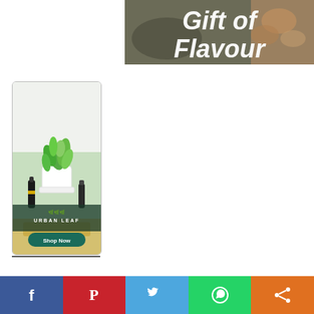[Figure (photo): Banner image with dark food bowl background and overlaid italic bold white text reading 'Gift of Flavour']
[Figure (infographic): Urban Leaf advertisement showing a herb plant growing kit with bottle products on a wooden board, logo text 'URBAN LEAF' with a city skyline icon, and a teal 'Shop Now' button]
[Figure (infographic): Social sharing bar at bottom with five buttons: Facebook (blue), Pinterest (red), Twitter (light blue), WhatsApp (green), Share (orange)]